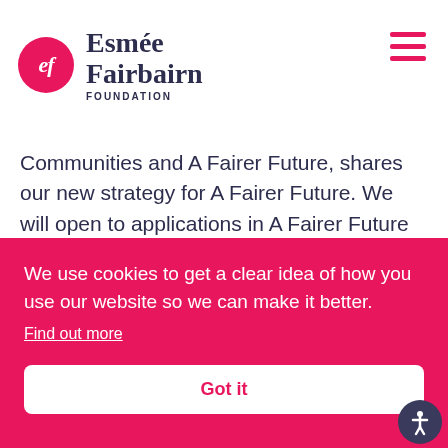Esmée Fairbairn Foundation
Communities and A Fairer Future, shares our new strategy for A Fairer Future. We will open to applications in A Fairer Future in October 2022.
READ MORE
We use cookies to get a clear idea of how you use our website so we can make it better.
Find out more
Got it